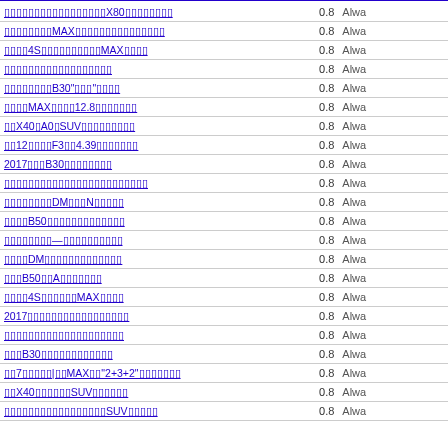| Link | Value | Status |
| --- | --- | --- |
| X80 ... | 0.8 | Alwa |
| MAX ... | 0.8 | Alwa |
| 4S...MAX ... | 0.8 | Alwa |
| ... ... | 0.8 | Alwa |
| ...B30"..." ... | 0.8 | Alwa |
| MAX...12.8... ... | 0.8 | Alwa |
| X40 A0 SUV... ... | 0.8 | Alwa |
| 12...F3...4.39... ... | 0.8 | Alwa |
| 2017...B30 ... ... | 0.8 | Alwa |
| ... ... | 0.8 | Alwa |
| ...DM...N... ... | 0.8 | Alwa |
| ...B50... ... | 0.8 | Alwa |
| ...—... ... | 0.8 | Alwa |
| ...DM... ... | 0.8 | Alwa |
| ...B50...A... ... | 0.8 | Alwa |
| ...4S...MAX ... | 0.8 | Alwa |
| 2017... ... | 0.8 | Alwa |
| ... ... | 0.8 | Alwa |
| ...B30... ... | 0.8 | Alwa |
| ...7... | ...MAX..."2+3+2"... ... | 0.8 | Alwa |
| ...X40...SUV... ... | 0.8 | Alwa |
| ...SUV... ... | 0.8 | Alwa |